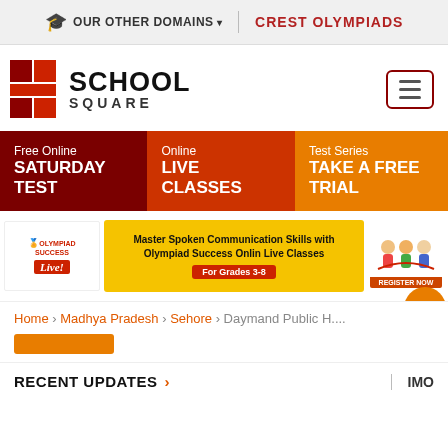OUR OTHER DOMAINS ▾ | CREST OLYMPIADS
[Figure (logo): School Square logo with red cross/plus shape and text SCHOOL SQUARE]
Free Online SATURDAY TEST | Online LIVE CLASSES | Test Series TAKE A FREE TRIAL
[Figure (infographic): Olympiad Success Live! advertisement banner: Master Spoken Communication Skills with Olympiad Success Onlin Live Classes For Grades 3-8 REGISTER NOW]
Home › Madhya Pradesh › Sehore › Daymand Public H....
RECENT UPDATES › IMO